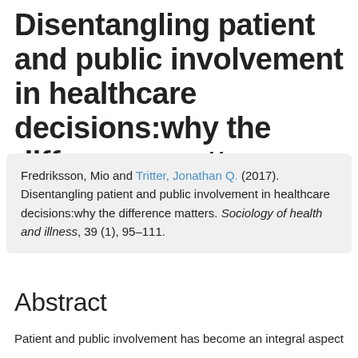Disentangling patient and public involvement in healthcare decisions:why the difference matters
Fredriksson, Mio and Tritter, Jonathan Q. (2017). Disentangling patient and public involvement in healthcare decisions:why the difference matters. Sociology of health and illness, 39 (1), 95–111.
Abstract
Patient and public involvement has become an integral aspect